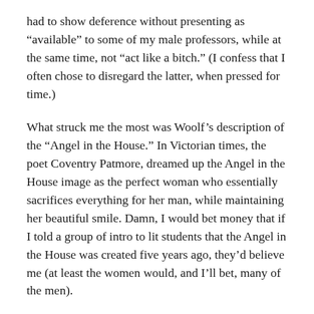had to show deference without presenting as “available” to some of my male professors, while at the same time, not “act like a bitch.” (I confess that I often chose to disregard the latter, when pressed for time.)
What struck me the most was Woolf’s description of the “Angel in the House.” In Victorian times, the poet Coventry Patmore, dreamed up the Angel in the House image as the perfect woman who essentially sacrifices everything for her man, while maintaining her beautiful smile. Damn, I would bet money that if I told a group of intro to lit students that the Angel in the House was created five years ago, they’d believe me (at least the women would, and I’ll bet, many of the men).
Virginia Woolf suffers with this bitch’s…uh…